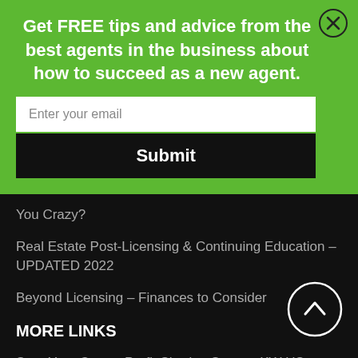Get FREE tips and advice from the best agents in the business about how to succeed as a new agent.
Enter your email
Submit
You Crazy?
Real Estate Post-Licensing & Continuing Education – UPDATED 2022
Beyond Licensing – Finances to Consider
MORE LINKS
Start Your Career Profit Sharing System KW US vs. KW